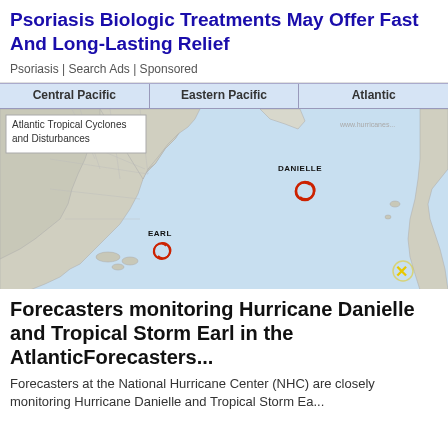Psoriasis Biologic Treatments May Offer Fast And Long-Lasting Relief
Psoriasis | Search Ads | Sponsored
[Figure (map): Atlantic Tropical Cyclones and Disturbances map showing Hurricane Danielle in the mid-Atlantic and Tropical Storm Earl in the Caribbean, with a yellow X marker near the coast of Africa. Tab navigation shows Central Pacific, Eastern Pacific, and Atlantic.]
Forecasters monitoring Hurricane Danielle and Tropical Storm Earl in the AtlanticForecasters...
Forecasters at the National Hurricane Center (NHC) are closely monitoring Hurricane Danielle and Tropical Storm Ea...